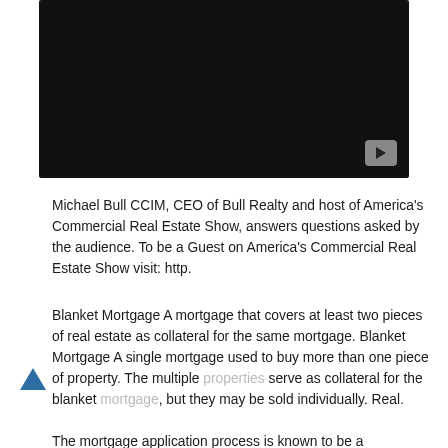[Figure (screenshot): A video player thumbnail showing a black screen with a YouTube play button icon in the bottom-right corner]
Michael Bull CCIM, CEO of Bull Realty and host of America's Commercial Real Estate Show, answers questions asked by the audience. To be a Guest on America's Commercial Real Estate Show visit: http.
Blanket Mortgage A mortgage that covers at least two pieces of real estate as collateral for the same mortgage. Blanket Mortgage A single mortgage used to buy more than one piece of property. The multiple properties serve as collateral for the blanket mortgage, but they may be sold individually. Real.
The mortgage application process is known to be a